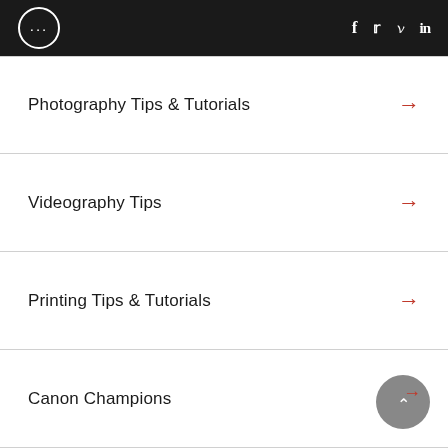··· f t p in
Photography Tips & Tutorials
Videography Tips
Printing Tips & Tutorials
Canon Champions